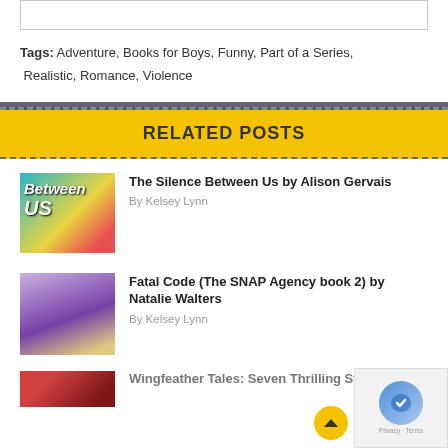Tags: Adventure, Books for Boys, Funny, Part of a Series, Realistic, Romance, Violence
RELATED POSTS
The Silence Between Us by Alison Gervais
By Kelsey Lynn
Fatal Code (The SNAP Agency book 2) by Natalie Walters
By Kelsey Lynn
Wingfeather Tales: Seven Thrilling Stories